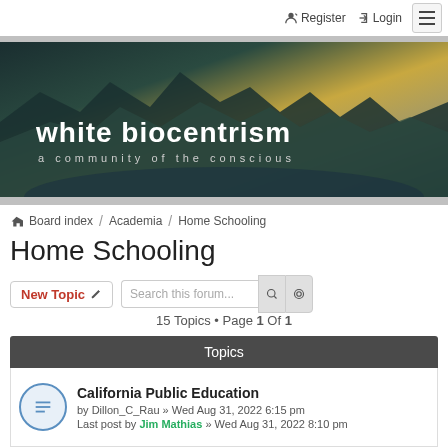Register   Login
[Figure (illustration): white biocentrism forum banner with mountain landscape background, text 'white biocentrism' and subtitle 'a community of the conscious']
Board index / Academia / Home Schooling
Home Schooling
New Topic   Search this forum...   15 Topics • Page 1 Of 1
| Topics |
| --- |
| California Public Education | by Dillon_C_Rau » Wed Aug 31, 2022 6:15 pm | Last post by Jim Mathias » Wed Aug 31, 2022 8:10 pm |